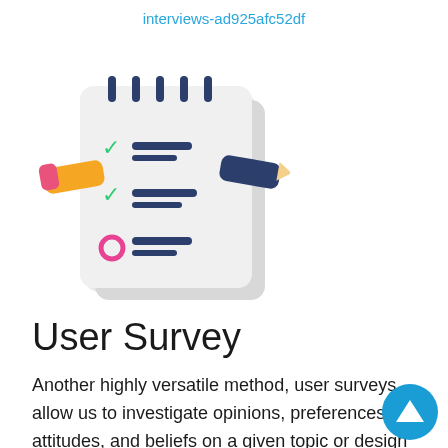interviews-ad925afc52df
[Figure (illustration): Checklist/survey icon with a pencil, showing checkmarks and lines on a notepad-style document with spiral binding at the top]
User Survey
Another highly versatile method, user surveys allow us to investigate opinions, preferences, attitudes, and beliefs on a given topic or design from a sample of users. User surveys comprise of a set of structured questions and are generally distributed
[Figure (other): Circular blue scroll-to-top button with a white upward-pointing triangle/arrow]